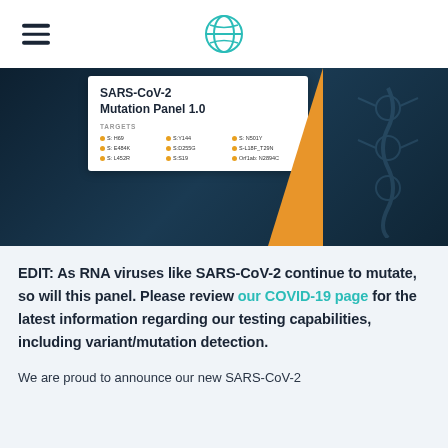[hamburger menu] [globe logo]
[Figure (infographic): SARS-CoV-2 Mutation Panel 1.0 product card showing targets: S:H69, S:Y144, S:N501Y, S:E484K, S:D255G, S:L18F_T29N, S:L452R, S:S19, ORF1ab:N2894C — displayed on a dark teal background with orange accent.]
EDIT: As RNA viruses like SARS-CoV-2 continue to mutate, so will this panel. Please review our COVID-19 page for the latest information regarding our testing capabilities, including variant/mutation detection.
We are proud to announce our new SARS-CoV-2